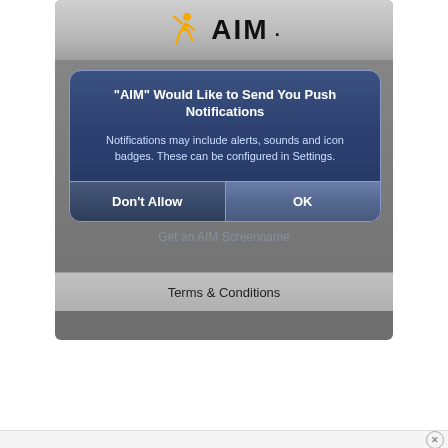[Figure (screenshot): AIM app iOS push notification permission dialog on a smartphone screen. The dialog reads: "AIM" Would Like to Send You Push Notifications. Notifications may include alerts, sounds and icon badges. These can be configured in Settings. Two buttons: Don't Allow and OK. Below the dialog is a Terms & Conditions bar.]
Terms & Conditions